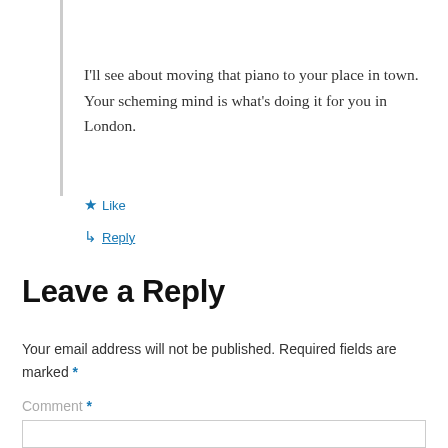I'll see about moving that piano to your place in town. Your scheming mind is what's doing it for you in London.
★ Like
↳ Reply
Leave a Reply
Your email address will not be published. Required fields are marked *
Comment *